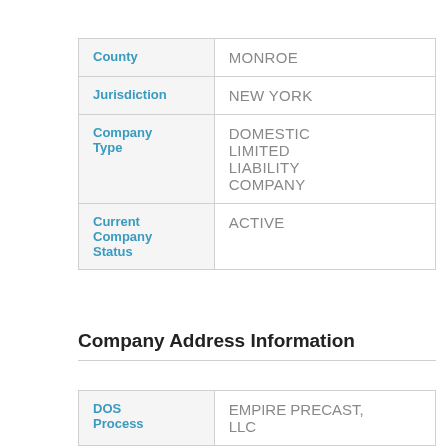| Field | Value |
| --- | --- |
| County | MONROE |
| Jurisdiction | NEW YORK |
| Company Type | DOMESTIC LIMITED LIABILITY COMPANY |
| Current Company Status | ACTIVE |
Company Address Information
| Field | Value |
| --- | --- |
| DOS Process | EMPIRE PRECAST, LLC |